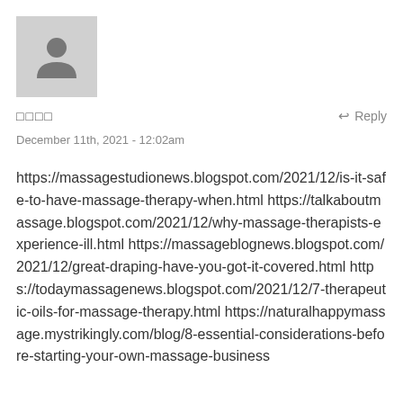[Figure (illustration): Default user avatar placeholder — grey square with a person silhouette icon]
□□□□   ↩ Reply
December 11th, 2021 - 12:02am
https://massagestudionews.blogspot.com/2021/12/is-it-safe-to-have-massage-therapy-when.html https://talkaboutmassage.blogspot.com/2021/12/why-massage-therapists-experience-ill.html https://massageblognews.blogspot.com/2021/12/great-draping-have-you-got-it-covered.html https://todaymassagenews.blogspot.com/2021/12/7-therapeutic-oils-for-massage-therapy.html https://naturalhappymassage.mystrikingly.com/blog/8-essential-considerations-before-starting-your-own-massage-business